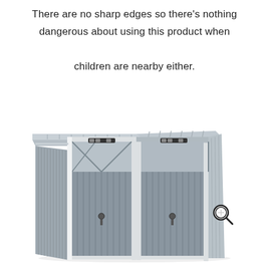There are no sharp edges so there's nothing dangerous about using this product when children are nearby either.
[Figure (illustration): Product illustration of a double metal storage bin store / shed unit with grey corrugated panels, white frame, two separate sections each with a hinged top lid and a front door with a latch. A magnifying glass icon appears in the upper right corner of the image.]